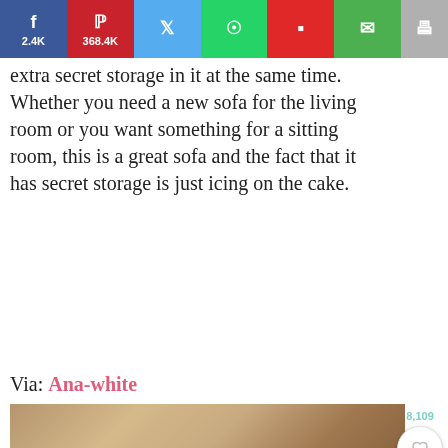Social share bar: Facebook 2.4K, Pinterest 368.4K, Twitter, WhatsApp, Flipboard, Email, Print
extra secret storage in it at the same time. Whether you need a new sofa for the living room or you want something for a sitting room, this is a great sofa and the fact that it has secret storage is just icing on the cake.
Via: Ana-white
[Figure (photo): Photo of a wooden sofa with open lid revealing hidden storage compartment inside, with striped cushion fabric visible]